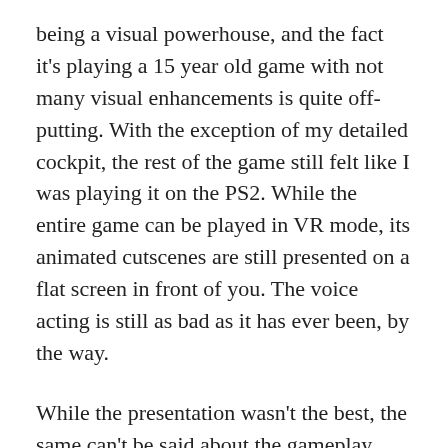being a visual powerhouse, and the fact it's playing a 15 year old game with not many visual enhancements is quite off-putting. With the exception of my detailed cockpit, the rest of the game still felt like I was playing it on the PS2. While the entire game can be played in VR mode, its animated cutscenes are still presented on a flat screen in front of you. The voice acting is still as bad as it has ever been, by the way.
While the presentation wasn't the best, the same can't be said about the gameplay. The transition to VR has been magnificent! Very little has changed in terms of playing the actual game. Picking it up again and playing it felt extremely natural, as if I wasn't even paying attention to the fact it was a VR game. The framerate is rock-solid, the combat is fast paced, the controls are very responsive, and the new cockpit UI provides a fine balance of all the onscreen information you need while